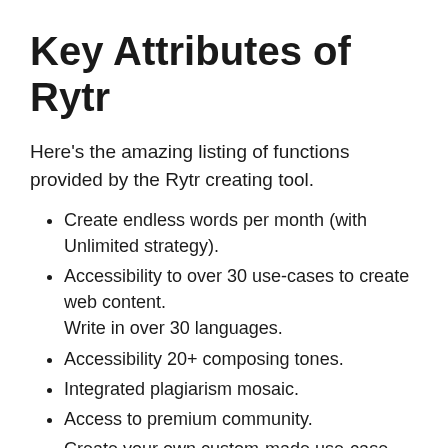Key Attributes of Rytr
Here’s the amazing listing of functions provided by the Rytr creating tool.
Create endless words per month (with Unlimited strategy).
Accessibility to over 30 use-cases to create web content.
Write in over 30 languages.
Accessibility 20+ composing tones.
Integrated plagiarism mosaic.
Access to premium community.
Create your own custom-made use-case.
Offers you a specialized account manager.